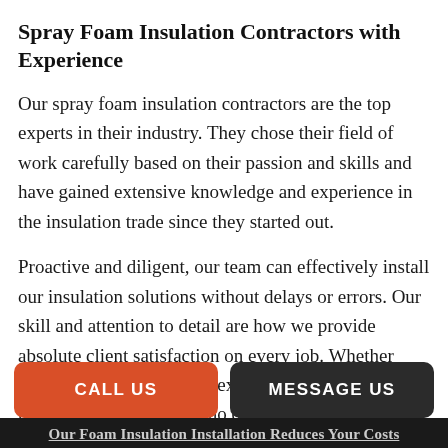Spray Foam Insulation Contractors with Experience
Our spray foam insulation contractors are the top experts in their industry. They chose their field of work carefully based on their passion and skills and have gained extensive knowledge and experience in the insulation trade since they started out.
Proactive and diligent, our team can effectively install our insulation solutions without delays or errors. Our skill and attention to detail are how we provide absolute client satisfaction on every job. Whether Winnipeg is experiencing extreme heat, cold or pouring rains, there’ll be no difference in the performance of our insulation.
Our Foam Insulation Installation Reduces Your Costs